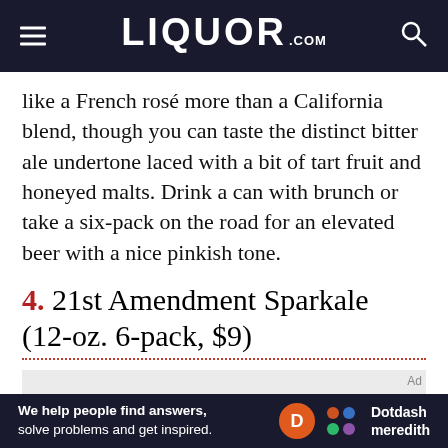LIQUOR.COM
like a French rosé more than a California blend, though you can taste the distinct bitter ale undertone laced with a bit of tart fruit and honeyed malts. Drink a can with brunch or take a six-pack on the road for an elevated beer with a nice pinkish tone.
4. 21st Amendment Sparkale (12-oz. 6-pack, $9)
[Figure (screenshot): Advertisement placeholder with gray background and 'Ad' label]
[Figure (logo): Dotdash Meredith banner with tagline: We help people find answers, solve problems and get inspired.]